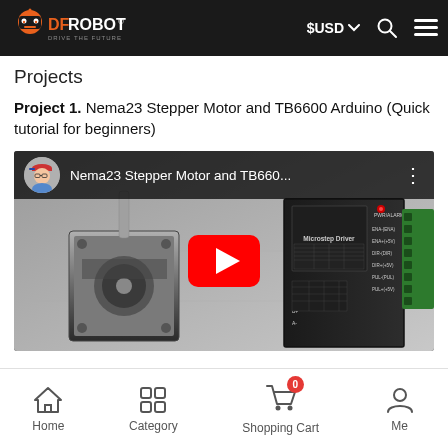DFRobot - Drive the Future | $USD | Navigation
Projects
Project 1. Nema23 Stepper Motor and TB6600 Arduino (Quick tutorial for beginners)
[Figure (screenshot): YouTube video thumbnail showing a Nema23 stepper motor and TB6600 Microstep Driver controller, with a red YouTube play button in the center and a video top bar showing the title 'Nema23 Stepper Motor and TB660...']
Home | Category | Shopping Cart (0) | Me